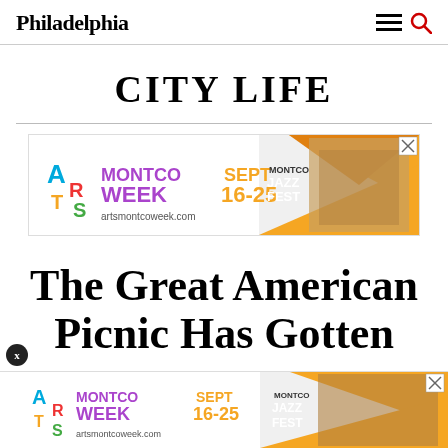Philadelphia
CITY LIFE
[Figure (infographic): Advertisement banner for Montco Arts Week Sept 16-25, artsmontcoweek.com, Montco Jazz Fest]
The Great American Picnic Has Gotten
[Figure (infographic): Bottom sticky advertisement banner for Montco Arts Week Sept 16-25, artsmontcoweek.com, Montco Jazz Fest with X close button]